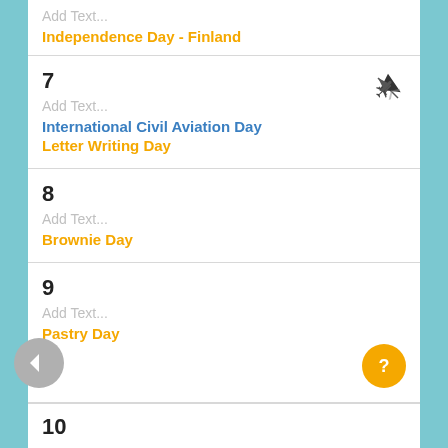Add Text...
Independence Day - Finland
7
Add Text...
International Civil Aviation Day
Letter Writing Day
8
Add Text...
Brownie Day
9
Add Text...
Pastry Day
10